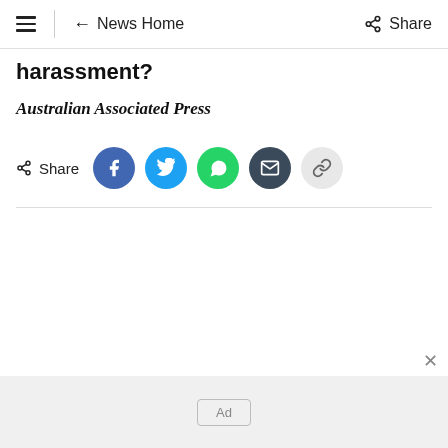≡  ← News Home   Share
harassment?
Australian Associated Press
[Figure (other): Share buttons row: Share label, Facebook, Twitter, WhatsApp, Email, Link icons]
Ad